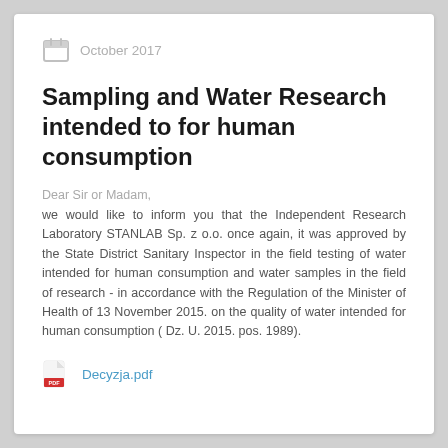October 2017
Sampling and Water Research intended to for human consumption
Dear Sir or Madam,
we would like to inform you that the Independent Research Laboratory STANLAB Sp. z o.o. once again, it was approved by the State District Sanitary Inspector in the field testing of water intended for human consumption and water samples in the field of research - in accordance with the Regulation of the Minister of Health of 13 November 2015. on the quality of water intended for human consumption ( Dz. U. 2015. pos. 1989).
Decyzja.pdf